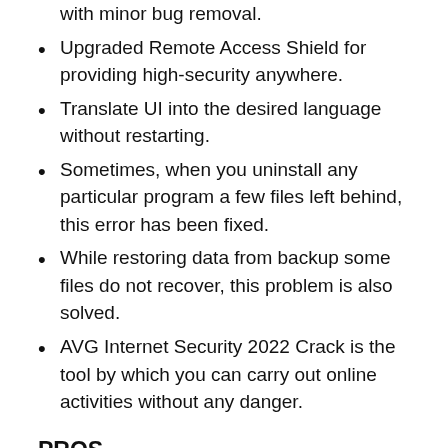with minor bug removal.
Upgraded Remote Access Shield for providing high-security anywhere.
Translate UI into the desired language without restarting.
Sometimes, when you uninstall any particular program a few files left behind, this error has been fixed.
While restoring data from backup some files do not recover, this problem is also solved.
AVG Internet Security 2022 Crack is the tool by which you can carry out online activities without any danger.
PROS